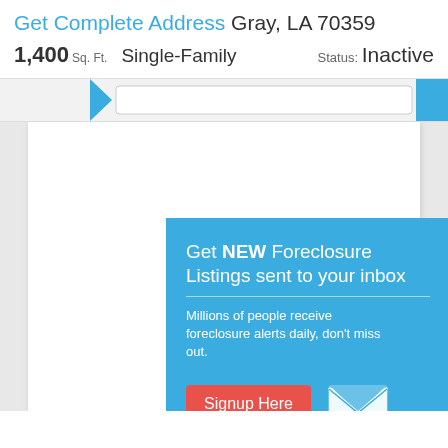Get Complete Address Gray, LA 70359
1,400 Sq. Ft.   Single-Family   Status: Inactive
[Figure (screenshot): Navigation bar with blue triangle pointer, search input, and blue button on right]
[Figure (infographic): Blue popup modal: 'Get NEW Foreclosure Listings sent to your inbox' with signup button, mail icon, and links 'No Thanks | Remind Me Later']